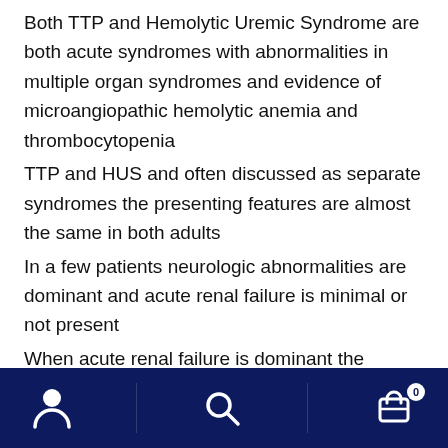Both TTP and Hemolytic Uremic Syndrome are both acute syndromes with abnormalities in multiple organ syndromes and evidence of microangiopathic hemolytic anemia and thrombocytopenia
TTP and HUS and often discussed as separate syndromes the presenting features are almost the same in both adults
In a few patients neurologic abnormalities are dominant and acute renal failure is minimal or not present
When acute renal failure is dominant the disorder is usually considered HUS
Thrombotic Thrombocytopenia Purpura
Clinical manifestations include:  microangiopathic hemolytic anemia, thrombocytopenia often with purpura